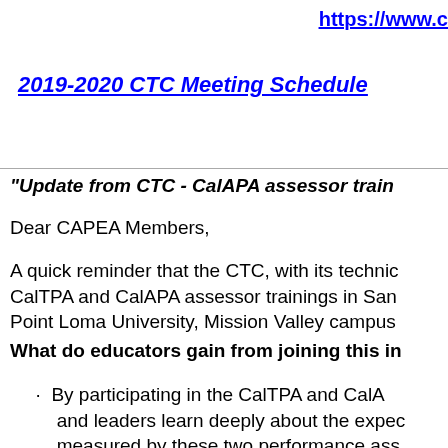https://www.c
2019-2020 CTC Meeting Schedule
"Update from CTC - CalAPA assessor trai…
Dear CAPEA Members,
A quick reminder that the CTC, with its techni… CalTPA and CalAPA assessor trainings in San… Point Loma University, Mission Valley campus…
What do educators gain from joining this i…
By participating in the CalTPA and CalA… and leaders learn deeply about the expec… measured by these two performance ass…